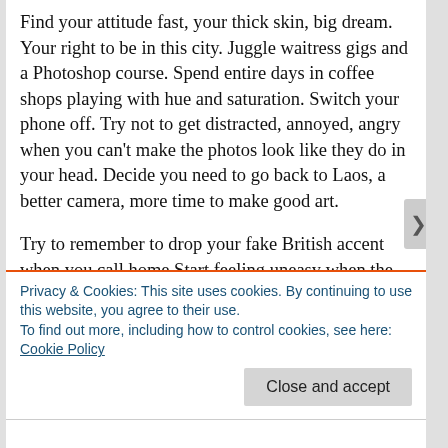Find your attitude fast, your thick skin, big dream. Your right to be in this city. Juggle waitress gigs and a Photoshop course. Spend entire days in coffee shops playing with hue and saturation. Switch your phone off. Try not to get distracted, annoyed, angry when you can't make the photos look like they do in your head. Decide you need to go back to Laos, a better camera, more time to make good art.
Try to remember to drop your fake British accent when you call home.Start feeling uneasy when the winter comes and the heating isn't hot enough. Remember the year-round warmth in the other hemisphere, just
Privacy & Cookies: This site uses cookies. By continuing to use this website, you agree to their use.
To find out more, including how to control cookies, see here: Cookie Policy